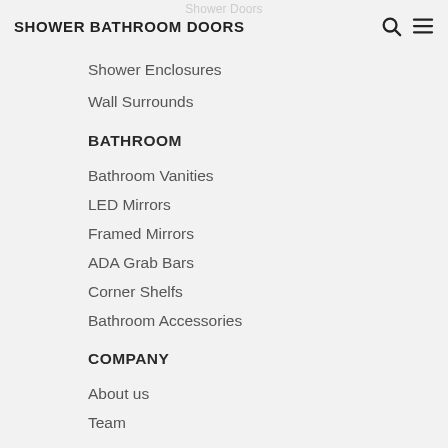SHOWER BATHROOM DOORS
Shower Enclosures
Wall Surrounds
BATHROOM
Bathroom Vanities
LED Mirrors
Framed Mirrors
ADA Grab Bars
Corner Shelfs
Bathroom Accessories
COMPANY
About us
Team